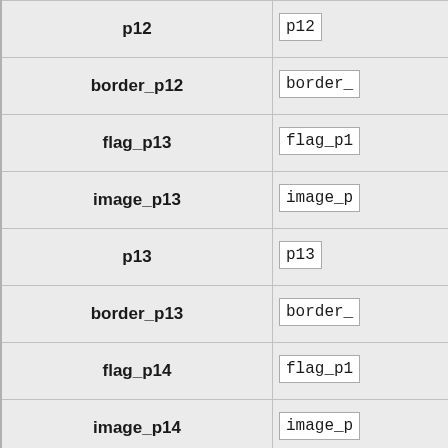| Label | Widget |
| --- | --- |
| p12 | p12 |
| border_p12 | border_ |
| flag_p13 | flag_p1 |
| image_p13 | image_p |
| p13 | p13 |
| border_p13 | border_ |
| flag_p14 | flag_p1 |
| image_p14 | image_p |